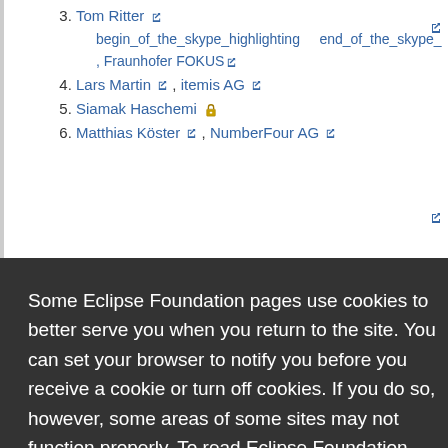3. Tom Ritter begin_of_the_skype_highlighting end_of_the_skype_ , Fraunhofer FOKUS
4. Lars Martin, itemis AG
5. Siamak Haschemi
6. Matthias Köster, NumberFour AG
Some Eclipse Foundation pages use cookies to better serve you when you return to the site. You can set your browser to notify you before you receive a cookie or turn off cookies. If you do so, however, some areas of some sites may not function properly. To read Eclipse Foundation Privacy Policy click here.
21. Helko Glathe, Carmeq GmbH